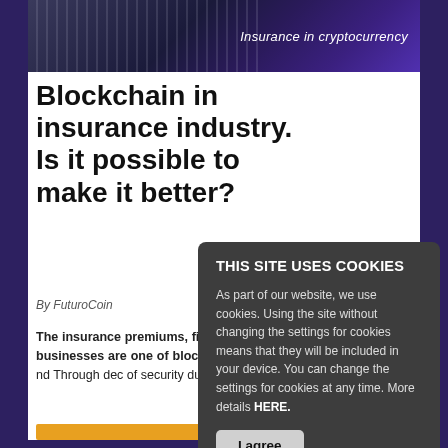[Figure (photo): Top banner with candlestick chart background and 'Insurance in cryptocurrency' text on blue/purple gradient]
Blockchain in insurance industry. Is it possible to make it better?
By FuturoCoin
The insurance premiums, financial losses, of businesses are one of blockchains problems a Through de of security duration.
THIS SITE USES COOKIES
As part of our website, we use cookies. Using the site without changing the settings for cookies means that they will be included in your device. You can change the settings for cookies at any time. More details HERE.
I agree